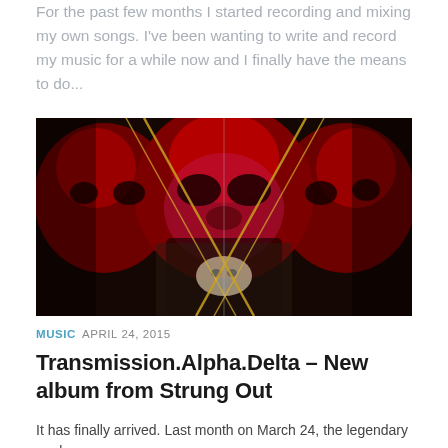For the past few months I started recording and mixing my own songs. I've been wanting to write and record my music for a while now and I finally have the means to do...
[Figure (photo): A dramatic artistic photo of a red-masked face reflected or mirrored, with a dark background and gold/silver diagonal lines crossing the image creating a kaleidoscopic effect.]
MUSIC  APRIL 24, 2015
Transmission.Alpha.Delta – New album from Strung Out
It has finally arrived. Last month on March 24, the legendary punk